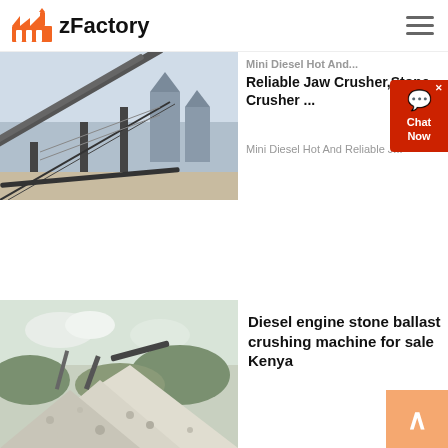zFactory
[Figure (photo): Industrial stone crushing conveyor plant against sky background]
Mini Diesel Hot And Reliable Jaw Crusher,Stone Crusher ...
Mini Diesel Hot And Reliable J...
Read More
[Figure (photo): Pile of crushed white stone ballast with conveyor machinery in background against cloudy sky]
Diesel engine stone ballast crushing machine for sale Kenya